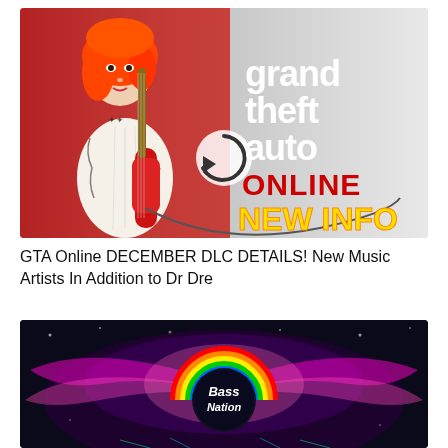[Figure (screenshot): YouTube video thumbnail for GTA Online December DLC. Left half shows a tattooed woman with orange/red hair holding a red electric guitar against a red background. Right half shows grey/white background with 'grand theft auto' in white stacked text, 'ONLINE' in red bold text, and 'NEW INFO' in yellow bold text. A refresh/replay circle arrow icon is overlaid in the center.]
GTA Online DECEMBER DLC DETAILS! New Music Artists In Addition to Dr Dre
[Figure (screenshot): YouTube video thumbnail showing a colorful music visualizer with rainbow arcs and pink/magenta light beams on a dark background. A circular logo in the center reads 'Bass Nation' in stylized white script on a dark circle, surrounded by rainbow arc shapes.]